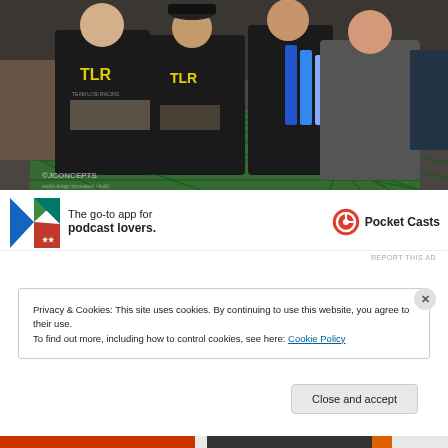[Figure (photo): Group of people posing at what appears to be an RC car racing event. Four people in the foreground, two wearing black TLR (Team Losi Racing) shirts, one person holding blue items (possibly RC car bodies), and a woman on the right. Green mesh fencing visible in background along with tables and people. JConcepts watermark visible at bottom left.]
[Figure (infographic): Pocket Casts advertisement banner showing colorful app icon on left, text 'The go-to app for podcast lovers.' in center, and Pocket Casts logo with name on right.]
REPORT THIS AD
Privacy & Cookies: This site uses cookies. By continuing to use this website, you agree to their use.
To find out more, including how to control cookies, see here: Cookie Policy
Close and accept